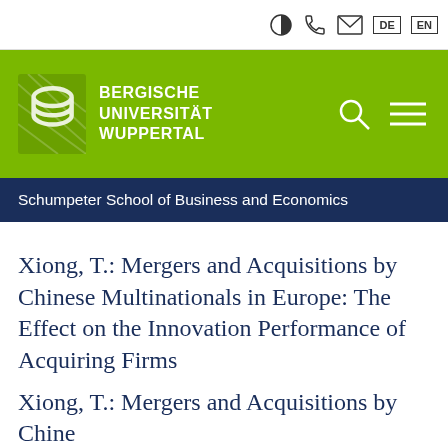DE | EN (navigation icons: accessibility, phone, mail, language switcher)
[Figure (logo): Bergische Universität Wuppertal logo with green background. Stylized lion crest on the left, bold white text 'BERGISCHE UNIVERSITÄT WUPPERTAL' on the right. Search and menu icons in the top right.]
Schumpeter School of Business and Economics
Xiong, T.: Mergers and Acquisitions by Chinese Multinationals in Europe: The Effect on the Innovation Performance of Acquiring Firms
Xiong, T.: Mergers and Acquisitions by Chinese...